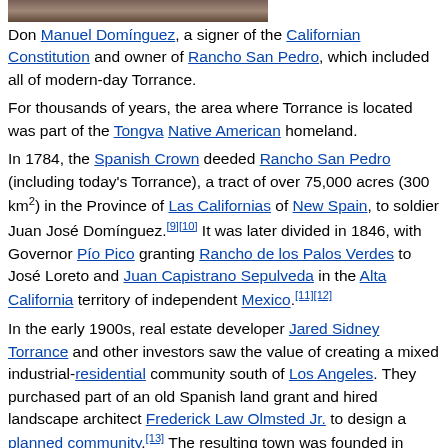[Figure (photo): Partial photo of Don Manuel Domínguez, cropped at top of page]
Don Manuel Domínguez, a signer of the Californian Constitution and owner of Rancho San Pedro, which included all of modern-day Torrance.
For thousands of years, the area where Torrance is located was part of the Tongva Native American homeland.
In 1784, the Spanish Crown deeded Rancho San Pedro (including today's Torrance), a tract of over 75,000 acres (300 km²) in the Province of Las Californias of New Spain, to soldier Juan José Domínguez.[9][10] It was later divided in 1846, with Governor Pío Pico granting Rancho de los Palos Verdes to José Loreto and Juan Capistrano Sepulveda in the Alta California territory of independent Mexico.[11][12]
In the early 1900s, real estate developer Jared Sidney Torrance and other investors saw the value of creating a mixed industrial-residential community south of Los Angeles. They purchased part of an old Spanish land grant and hired landscape architect Frederick Law Olmsted Jr. to design a planned community.[13] The resulting town was founded in October 1912 and named after Mr. Torrance. The city of Torrance was formally incorporated in May 1921, the townsite initially being bounded by Western Avenue on the east, Del Amo Boulevard on the north, Crenshaw Boulevard on...